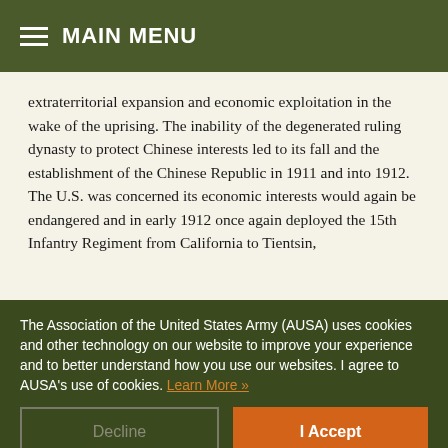MAIN MENU
extraterritorial expansion and economic exploitation in the wake of the uprising. The inability of the degenerated ruling dynasty to protect Chinese interests led to its fall and the establishment of the Chinese Republic in 1911 and into 1912. The U.S. was concerned its economic interests would again be endangered and in early 1912 once again deployed the 15th Infantry Regiment from California to Tientsin,
The Association of the United States Army (AUSA) uses cookies and other technology on our website to improve your experience and to better understand how you use our websites. I agree to AUSA's use of cookies. Learn More »